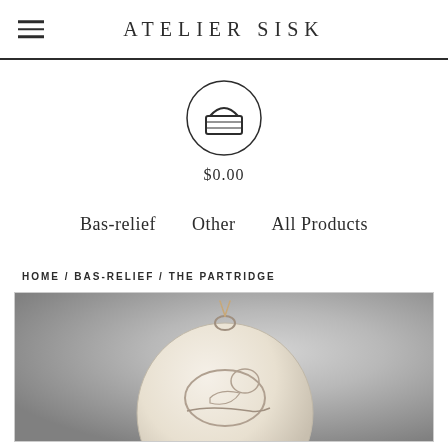ATELIER SISK
[Figure (illustration): Shopping basket icon inside a circle, with price $0.00 below]
$0.00
Bas-relief   Other   All Products
HOME / BAS-RELIEF / THE PARTRIDGE
[Figure (photo): Partial photo of a white ceramic bas-relief ornament shaped like a round medallion with a partridge bird in relief, hanging by a cord, against a gray background]